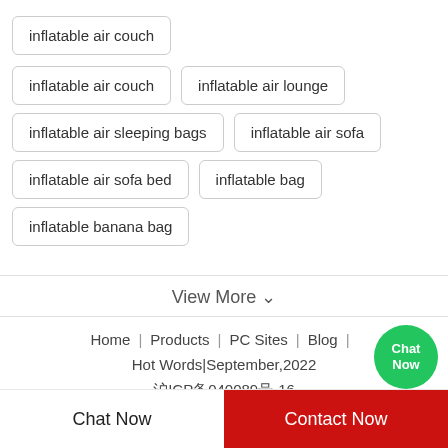inflatable air couch
inflatable air lounge
inflatable air sleeping bags
inflatable air sofa
inflatable air sofa bed
inflatable bag
inflatable banana bag
View More ∨
Home | Products | PC Sites | Blog | Hot Words | September,2022 沪ICP备040089号-16
Chat Now
Contact Now